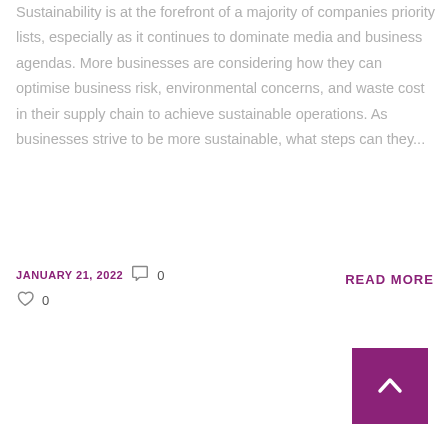Sustainability is at the forefront of a majority of companies priority lists, especially as it continues to dominate media and business agendas. More businesses are considering how they can optimise business risk, environmental concerns, and waste cost in their supply chain to achieve sustainable operations. As businesses strive to be more sustainable, what steps can they...
JANUARY 21, 2022  0  0
READ MORE
[Figure (other): Purple scroll-to-top button with upward chevron arrow]